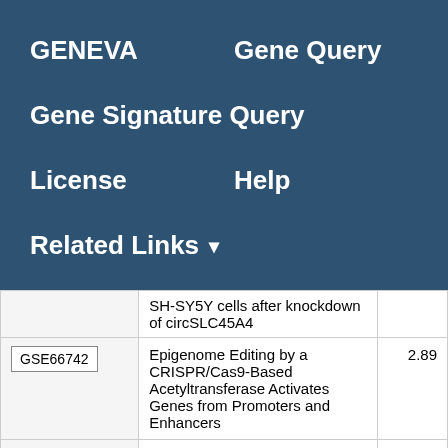GENEVA   Gene Query
Gene Signature Query
License   Help
Related Links ▾
|  | Description | Score |
| --- | --- | --- |
|  | SH-SY5Y cells after knockdown of circSLC45A4 |  |
| GSE66742 | Epigenome Editing by a CRISPR/Cas9-Based Acetyltransferase Activates Genes from Promoters and Enhancers | 2.89 |
| GSE71710 | Isolation and sequencing of | 2.84 |